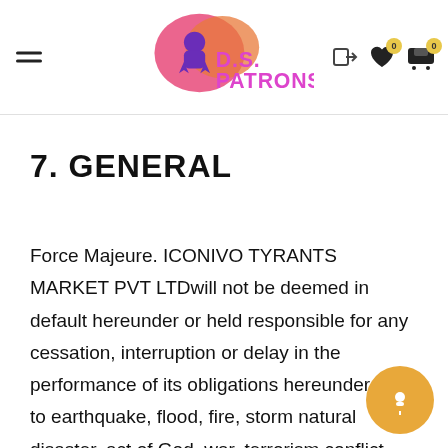D.S. PATRONS
7. GENERAL
Force Majeure. ICONIVO TYRANTS MARKET PVT LTDwill not be deemed in default hereunder or held responsible for any cessation, interruption or delay in the performance of its obligations hereunder due to earthquake, flood, fire, storm natural disaster, act of God, war, terrorism conflict, labor strike, lockout, or boycott.